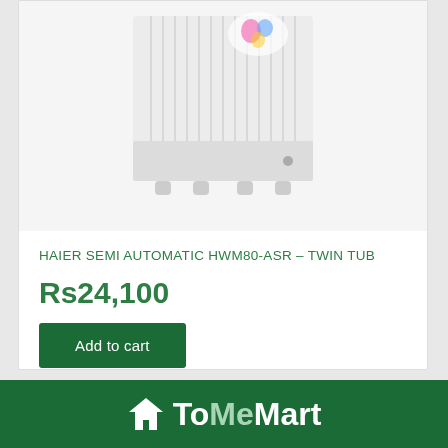[Figure (photo): White Haier semi-automatic twin tub washing machine with ribbed exterior body, colorful brand logo on top, and four small feet at the bottom, shown on a light gray background.]
HAIER SEMI AUTOMATIC HWM80-ASR – TWIN TUB
Rs24,100
Add to cart
ToMeMart